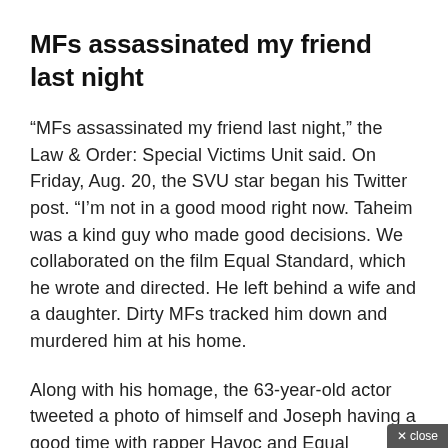MFs assassinated my friend last night
“MFs assassinated my friend last night,” the Law & Order: Special Victims Unit said. On Friday, Aug. 20, the SVU star began his Twitter post. “I’m not in a good mood right now. Taheim was a kind guy who made good decisions. We collaborated on the film Equal Standard, which he wrote and directed. He left behind a wife and a daughter. Dirty MFs tracked him down and murdered him at his home.
Along with his homage, the 63-year-old actor tweeted a photo of himself and Joseph having a good time with rapper Havoc and Equal Standard co-star Tobias Truvillion on a night